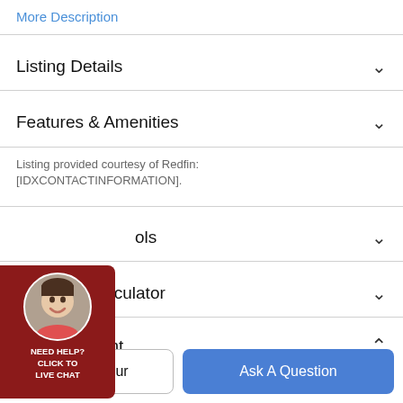More Description
Listing Details
Features & Amenities
Listing provided courtesy of Redfin: [IDXCONTACTINFORMATION].
ols
Payment Calculator
Contact Agent
Take a Tour
Ask A Question